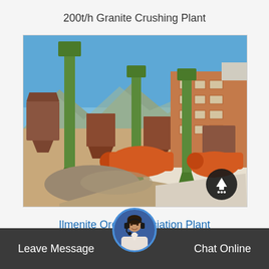200t/h Granite Crushing Plant
[Figure (photo): Industrial crushing/beneficiation plant with green elevator conveyors, orange cylindrical ball mills, conical hoppers, and a brick building in the background. Mountains visible in the distance under a clear blue sky. Aggregate piles in the foreground.]
Ilmenite Ore Beneficiation Plant
Leave Message    Chat Online